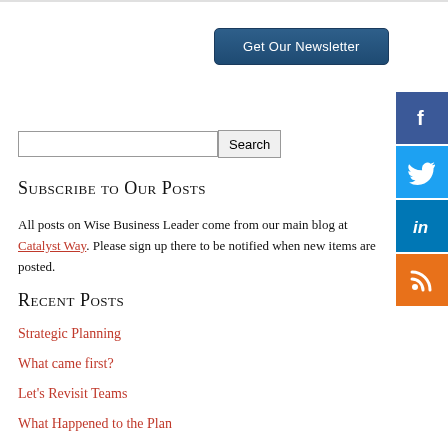[Figure (other): Get Our Newsletter button - dark blue rounded button]
[Figure (other): Social media icons: Facebook (blue), Twitter (light blue), LinkedIn (blue), RSS (orange)]
Search bar with input field and Search button
Subscribe to Our Posts
All posts on Wise Business Leader come from our main blog at Catalyst Way. Please sign up there to be notified when new items are posted.
Recent Posts
Strategic Planning
What came first?
Let's Revisit Teams
What Happened to the Plan